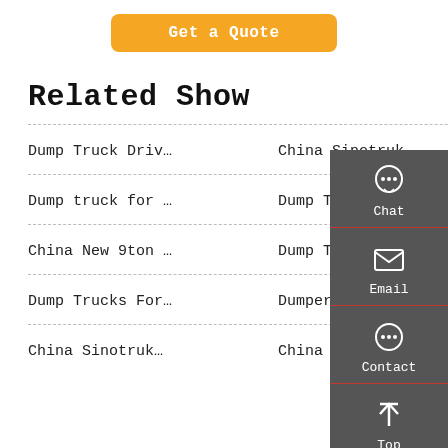Get a Quote
Related Show
Dump Truck Driv…
China Sinotruk…
Dump truck for …
Dump Truck Driv…
China New 9ton …
Dump Truck Roll…
Dump Trucks For…
Dumper Driver T…
China Sinotruk…
China Sinotruck…